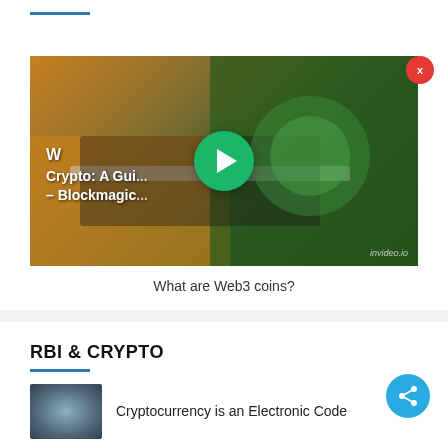[Figure (screenshot): Video thumbnail showing a laptop on a desk with text overlay reading 'W... Crypto: A Gui... – Blockmagic...' with a green play button in the center and a red X close button in the top right corner. The invideo.io watermark appears in the bottom right.]
What are Web3 coins?
RBI & CRYPTO
Cryptocurrency is an Electronic Code